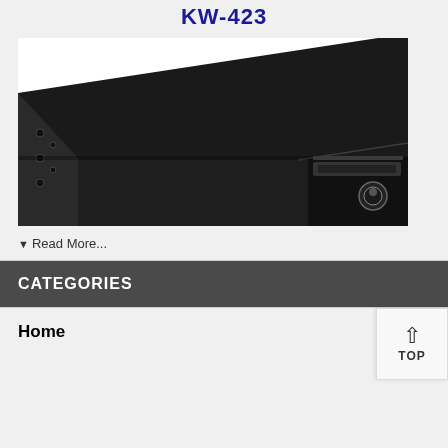KW-423
[Figure (photo): Close-up photo of a black metal rack-mount enclosure unit. The image shows the top-left corner and front-right side of the chassis. The left side panel has several mounting screw holes. On the front right, there is a drive bay with a handle and a lock/key mechanism.]
▼ Read More...
CATEGORIES
Home